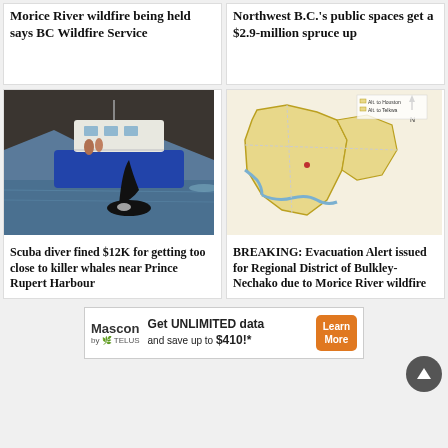Morice River wildfire being held says BC Wildfire Service
Northwest B.C.'s public spaces get a $2.9-million spruce up
[Figure (photo): Photo of a killer whale (orca) fin surfacing near a blue and white boat in a harbour]
Scuba diver fined $12K for getting too close to killer whales near Prince Rupert Harbour
[Figure (map): Map showing Regional District of Bulkley-Nechako evacuation alert area, highlighted in yellow, related to Morice River wildfire]
BREAKING: Evacuation Alert issued for Regional District of Bulkley-Nechako due to Morice River wildfire
Get UNLIMITED data and save up to $410!* — Mascon by TELUS — Learn More